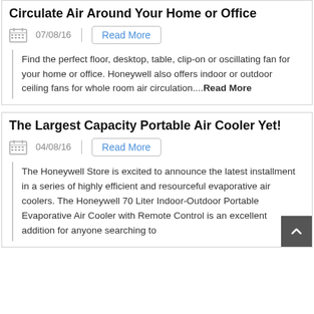Circulate Air Around Your Home or Office
07/08/16
Read More
Find the perfect floor, desktop, table, clip-on or oscillating fan for your home or office. Honeywell also offers indoor or outdoor ceiling fans for whole room air circulation....Read More
The Largest Capacity Portable Air Cooler Yet!
04/08/16
Read More
The Honeywell Store is excited to announce the latest installment in a series of highly efficient and resourceful evaporative air coolers. The Honeywell 70 Liter Indoor-Outdoor Portable Evaporative Air Cooler with Remote Control is an excellent addition for anyone searching to